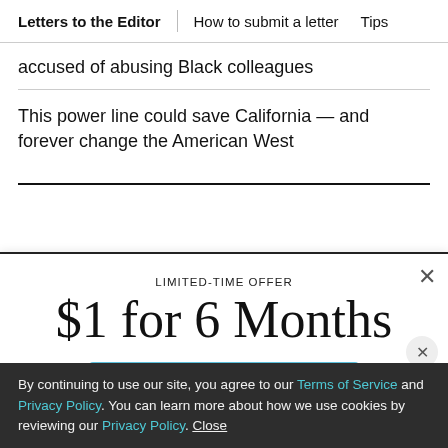Letters to the Editor | How to submit a letter | Tips
accused of abusing Black colleagues
This power line could save California — and forever change the American West
LIMITED-TIME OFFER
$1 for 6 Months
SUBSCRIBE NOW
By continuing to use our site, you agree to our Terms of Service and Privacy Policy. You can learn more about how we use cookies by reviewing our Privacy Policy. Close